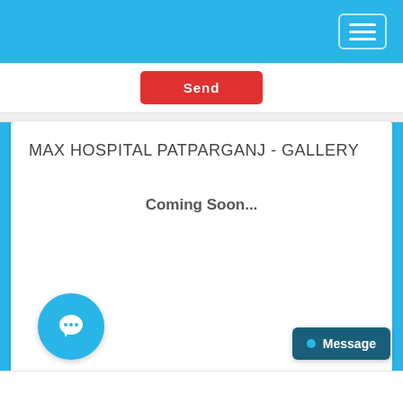MAX HOSPITAL PATPARGANJ - GALLERY
Coming Soon...